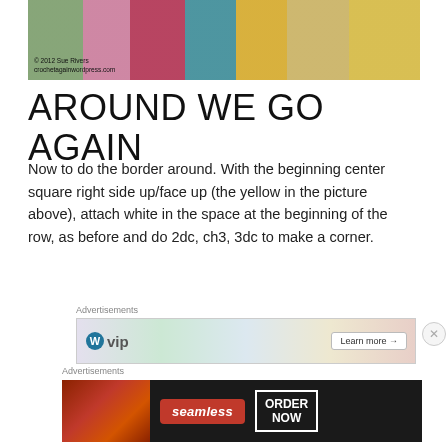[Figure (photo): Photo of colorful crochet work with green, pink, red, teal, and yellow yarn squares, watermarked with copyright 2012 Sue Rivers, crochetagainwordpress.com]
© 2012 Sue Rivers
crochetagainwordpress.com
AROUND WE GO AGAIN
Now to do the border around. With the beginning center square right side up/face up (the yellow in the picture above), attach white in the space at the beginning of the row, as before and do 2dc, ch3, 3dc to make a corner.
Advertisements
[Figure (screenshot): WordPress VIP advertisement banner with colorful background showing social media icons and a Learn more arrow button]
Advertisements
[Figure (screenshot): Seamless food delivery advertisement with pizza image, seamless logo, and ORDER NOW button on dark background]